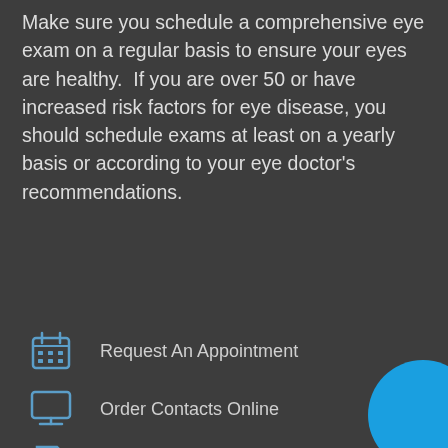Make sure you schedule a comprehensive eye exam on a regular basis to ensure your eyes are healthy. If you are over 50 or have increased risk factors for eye disease, you should schedule exams at least on a yearly basis or according to your eye doctor's recommendations.
[Figure (screenshot): Search bar with text input field and Search button]
Request An Appointment
Order Contacts Online
New Patient Form